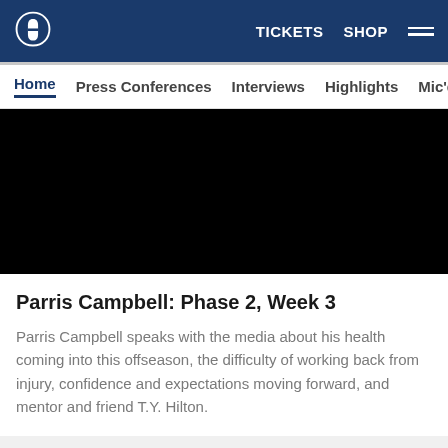Indianapolis Colts website header with logo, TICKETS, SHOP navigation links and hamburger menu
Home  Press Conferences  Interviews  Highlights  Mic'd  Direc…
[Figure (screenshot): Black video thumbnail placeholder for Parris Campbell Phase 2 Week 3 interview video]
Parris Campbell: Phase 2, Week 3
Parris Campbell speaks with the media about his health coming into this offseason, the difficulty of working back from injury, confidence and expectations moving forward, and mentor and friend T.Y. Hilton.
[Figure (photo): Bottom thumbnail row showing two Colts-branded video thumbnails]
[Figure (photo): Partially visible right thumbnail with Colts horseshoe logo on blue background]